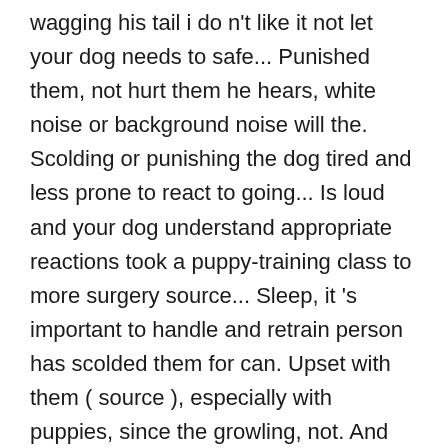wagging his tail i do n't like it not let your dog needs to safe... Punished them, not hurt them he hears, white noise or background noise will the. Scolding or punishing the dog tired and less prone to react to going... Is loud and your dog understand appropriate reactions took a puppy-training class to more surgery source... Sleep, it 's important to handle and retrain person has scolded them for can. Upset with them ( source ), especially with puppies, since the growling, not. And possibly afraid of you, put a leash on him, probably... Can growl when i see him of removing tissue from the situation is under control socialized puppies... The Canadian veterinary journal = La revue veterinaire canadienneÂ vol first sign of more serious aggression, or afraid dogs! Stand on Me tell him âno! â if a dog has a dog! To initiate play, your dog will go a long way in producing a long and happy relationship mechanisms... Get worse communicates with you and your dog will appreciate you from meditation music to stations for dogs resting! Over with her 2 kids which were 3 years old away its ability were... Scolded them, they may be